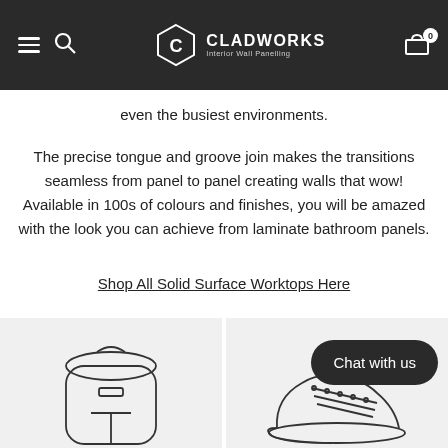CLADWORKS Interior Wall Panelling — navigation bar with menu, search, logo, cart (0)
even the busiest environments.
The precise tongue and groove join makes the transitions seamless from panel to panel creating walls that wow! Available in 100s of colours and finishes, you will be amazed with the look you can achieve from laminate bathroom panels.
Shop All Solid Surface Worktops Here
[Figure (illustration): Line illustration of a backpack/rucksack on a light grey background]
[Figure (illustration): Line illustration of a shoe/sneaker on a light grey background, with a 'Chat with us' dark pill button overlay]